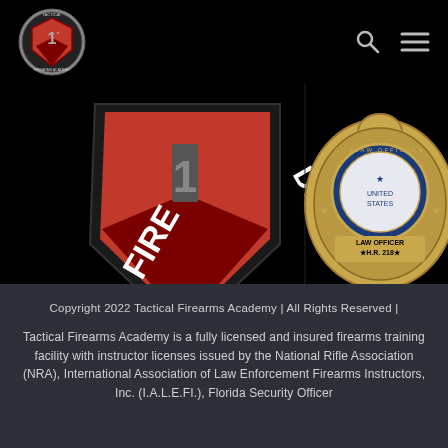[Figure (logo): Tactical Firearms Academy shield logo with red background and '1*' in center, circular text reading 'FIREARMS ACADEMY']
[Figure (illustration): Two images side by side on black background: left shows Tactical Firearms Academy shield/badge logo enlarged (red with white text FIREARMS ACADEMY and 1 in center); right shows a gold law enforcement badge with blue center seal reading 'LAW OFFICER H.R. 218' and US eagle emblem]
Copyright 2022 Tactical Firearms Academy | All Rights Reserved |
Tactical Firearms Academy is a fully licensed and insured firearms training facility with instructor licenses issued by the National Rifle Association (NRA), International Association of Law Enforcement Firearms Instructors, Inc. (I.A.L.E.FI.), Florida Security Officer...